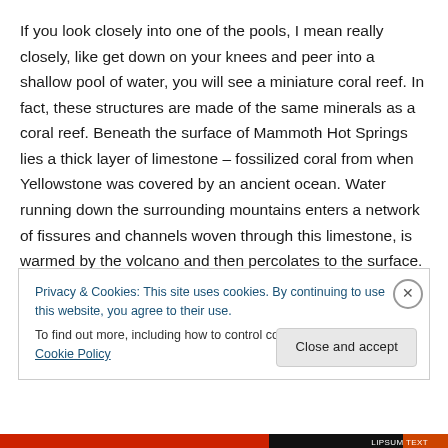If you look closely into one of the pools, I mean really closely, like get down on your knees and peer into a shallow pool of water, you will see a miniature coral reef. In fact, these structures are made of the same minerals as a coral reef. Beneath the surface of Mammoth Hot Springs lies a thick layer of limestone – fossilized coral from when Yellowstone was covered by an ancient ocean. Water running down the surrounding mountains enters a network of fissures and channels woven through this limestone, is warmed by the volcano and then percolates to the surface.
Privacy & Cookies: This site uses cookies. By continuing to use this website, you agree to their use. To find out more, including how to control cookies, see here: Cookie Policy